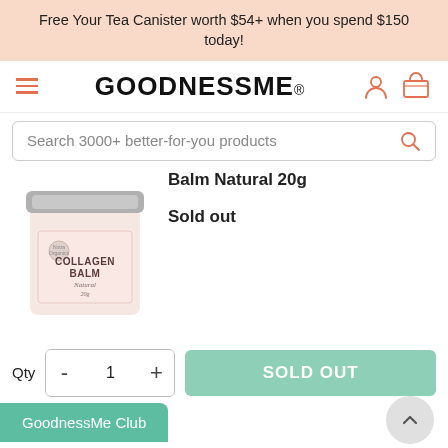Free Your Tea Canister worth $54+ when you spend $150 today!
[Figure (logo): GoodnessMe logo with hamburger menu, account icon, and basket icon in navigation bar]
Search 3000+ better-for-you products
Balm Natural 20g
[Figure (photo): Collagen Balm Natural 20g product jar with pink label and silver lid]
Sold out
Qty 1
SOLD OUT
GoodnessMe Club